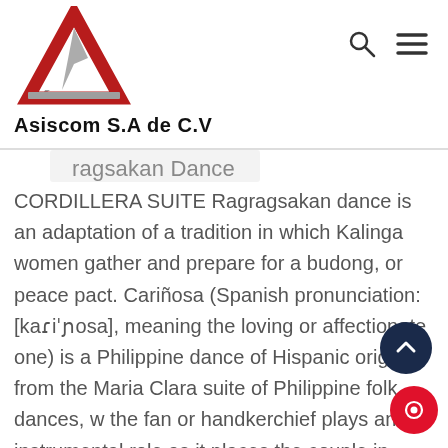[Figure (logo): Asiscom S.A de C.V logo with a red and grey triangle shape above the company name]
Asiscom S.A de C.V
ragsakan Dance
CORDILLERA SUITE Ragragsakan dance is an adaptation of a tradition in which Kalinga women gather and prepare for a budong, or peace pact. Cariñosa (Spanish pronunciation: [kaɾiˈɲosa], meaning the loving or affectionate one) is a Philippine dance of Hispanic origin from the Maria Clara suite of Philippine folk dances, w the fan or handkerchief plays an instrumental role as it places the couple in